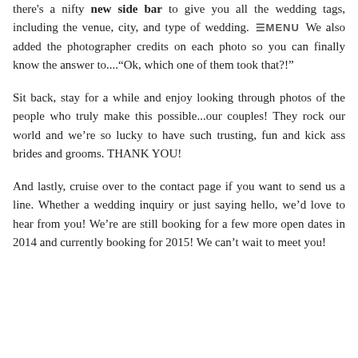there's a nifty new side bar to give you all the wedding tags, including the venue, city, and type of wedding. We also added the photographer credits on each photo so you can finally know the answer to...."Ok, which one of them took that?!"
Sit back, stay for a while and enjoy looking through photos of the people who truly make this possible...our couples! They rock our world and we're so lucky to have such trusting, fun and kick ass brides and grooms. THANK YOU!
And lastly, cruise over to the contact page if you want to send us a line. Whether a wedding inquiry or just saying hello, we'd love to hear from you! We're are still booking for a few more open dates in 2014 and currently booking for 2015! We can't wait to meet you!